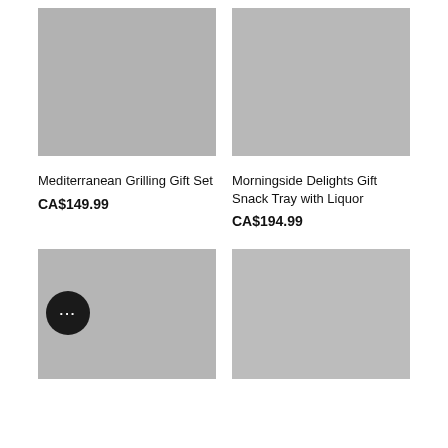[Figure (photo): Mediterranean Grilling Gift Set product photo showing BBQ tools, bottles, and gourmet items on grey background]
[Figure (photo): Morningside Delights Gift Snack Tray with Liquor product photo showing snack tray on wooden stand against grey background]
Mediterranean Grilling Gift Set
CA$149.99
Morningside Delights Gift Snack Tray with Liquor
CA$194.99
[Figure (photo): Bottom left gift set product photo with various gourmet items and chat bubble overlay]
[Figure (photo): Bottom right gift set product photo with barrel, bottles and gourmet items on grey background]